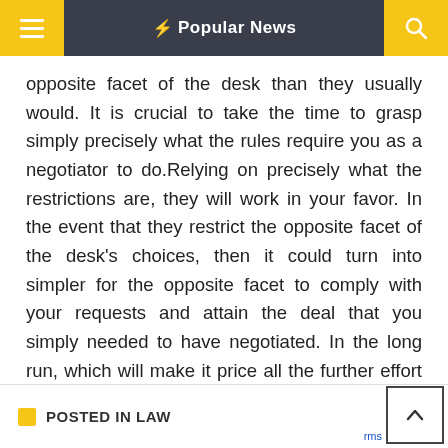Popular News
opposite facet of the desk than they usually would. It is crucial to take the time to grasp simply precisely what the rules require you as a negotiator to do.Relying on precisely what the restrictions are, they will work in your favor. In the event that they restrict the opposite facet of the desk’s choices, then it could turn into simpler for the opposite facet to comply with your requests and attain the deal that you simply needed to have negotiated. In the long run, which will make it price all the further effort that these restrictions require.
POSTED IN LAW